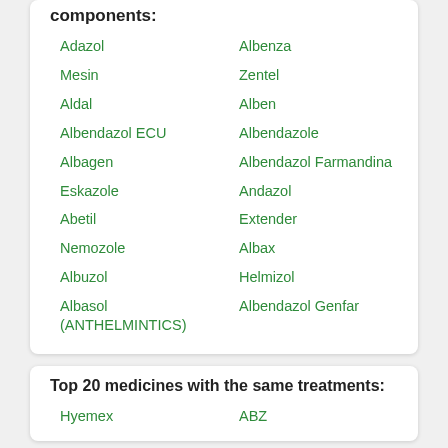components:
Adazol
Albenza
Mesin
Zentel
Aldal
Alben
Albendazol ECU
Albendazole
Albagen
Albendazol Farmandina
Eskazole
Andazol
Abetil
Extender
Nemozole
Albax
Albuzol
Helmizol
Albasol (ANTHELMINTICS)
Albendazol Genfar
Top 20 medicines with the same treatments:
Hyemex
ABZ